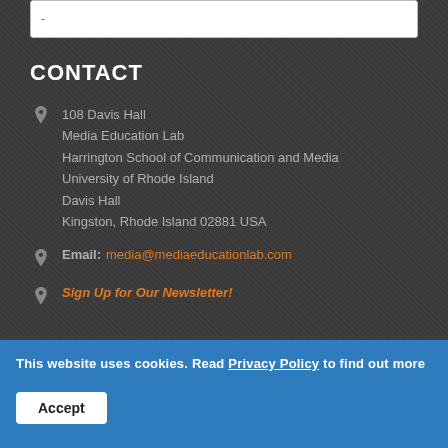-
CONTACT
108 Davis Hall
Media Education Lab
Harrington School of Communication and Media
University of Rhode Island
Davis Hall
Kingston, Rhode Island 02881 USA
Email: media@mediaeducationlab.com
Sign Up for Our Newsletter!
This website uses cookies. Read Privacy Policy to find out more
Accept